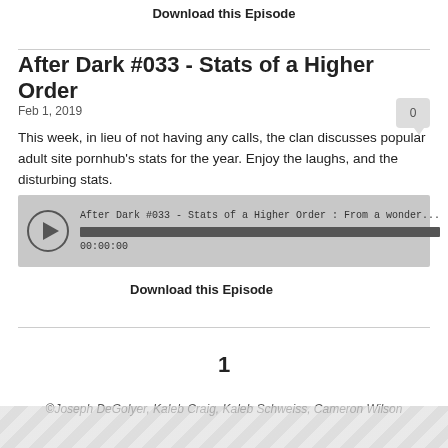Download this Episode
After Dark #033 - Stats of a Higher Order
Feb 1, 2019
This week, in lieu of not having any calls, the clan discusses popular adult site pornhub's stats for the year. Enjoy the laughs, and the disturbing stats.
[Figure (other): Libsyn audio player showing: After Dark #033 - Stats of a Higher Order : From a wonder... with play button, progress bar at 00:00:00 and Libsyn logo]
Download this Episode
1
©Joseph DeGolyer, Kaleb Craig, Kaleb Schweiss, Cameron Wilson